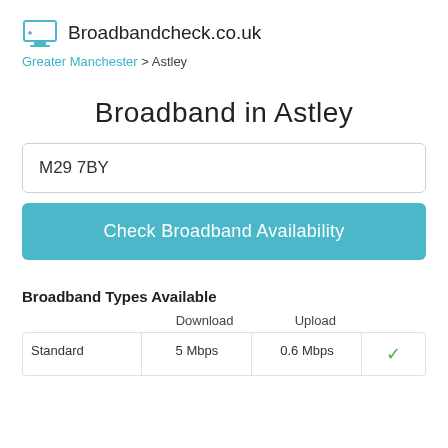Broadbandcheck.co.uk
Greater Manchester > Astley
Broadband in Astley
M29 7BY
Check Broadband Availability
Broadband Types Available
|  | Download | Upload |  |
| --- | --- | --- | --- |
| Standard | 5 Mbps | 0.6 Mbps | ✓ |